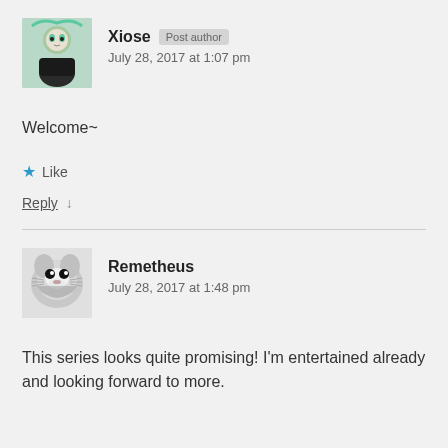[Figure (illustration): Avatar of user Xiose, anime character with green hair]
Xiose Post author
July 28, 2017 at 1:07 pm
Welcome~
★ Like
Reply ↓
[Figure (illustration): Avatar of user Remetheus, raccoon emoji/illustration]
Remetheus
July 28, 2017 at 1:48 pm
This series looks quite promising! I'm entertained already and looking forward to more.